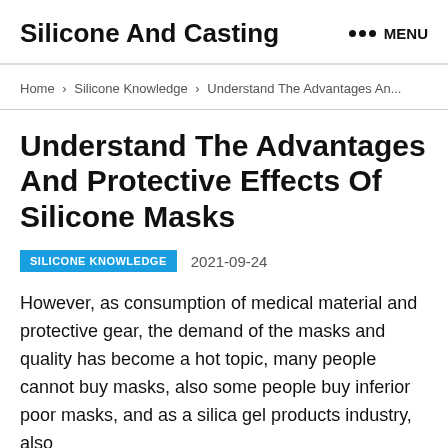Silicone And Casting  ••• MENU
Home › Silicone Knowledge › Understand The Advantages An...
Understand The Advantages And Protective Effects Of Silicone Masks
SILICONE KNOWLEDGE  2021-09-24
However, as consumption of medical material and protective gear, the demand of the masks and quality has become a hot topic, many people cannot buy masks, also some people buy inferior poor masks, and as a silica gel products industry, also